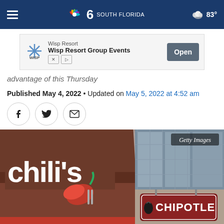NBC 6 South Florida | 83°
[Figure (screenshot): Advertisement banner for Wisp Resort Group Events with Open button]
advantage of this Thursday
Published May 4, 2022 • Updated on May 5, 2022 at 4:52 am
[Figure (photo): Split image showing Chili's restaurant sign on the left and Chipotle restaurant sign on the right. Getty Images watermark in top right corner.]